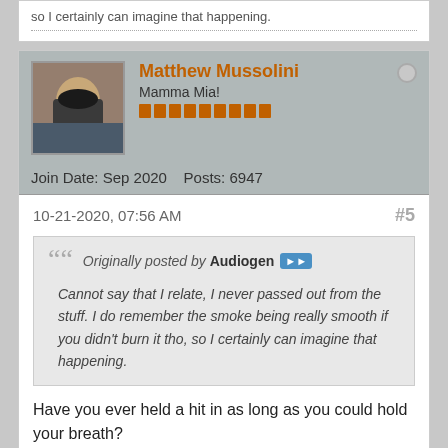so I certainly can imagine that happening.
Matthew Mussolini
Mamma Mia!
Join Date: Sep 2020    Posts: 6947
10-21-2020, 07:56 AM
#5
Originally posted by Audiogen
Cannot say that I relate, I never passed out from the stuff. I do remember the smoke being really smooth if you didn't burn it tho, so I certainly can imagine that happening.
Have you ever held a hit in as long as you could hold your breath?